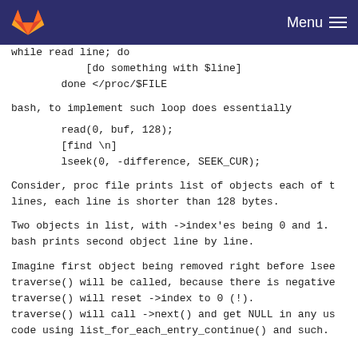Menu
while read line; do
            [do something with $line]
        done </proc/$FILE
bash, to implement such loop does essentially
read(0, buf, 128);
        [find \n]
        lseek(0, -difference, SEEK_CUR);
Consider, proc file prints list of objects each of t
lines, each line is shorter than 128 bytes.
Two objects in list, with ->index'es being 0 and 1.
bash prints second object line by line.
Imagine first object being removed right before lsee
traverse() will be called, because there is negative
traverse() will reset ->index to 0 (!).
traverse() will call ->next() and get NULL in any us
code using list_for_each_entry_continue() and such.